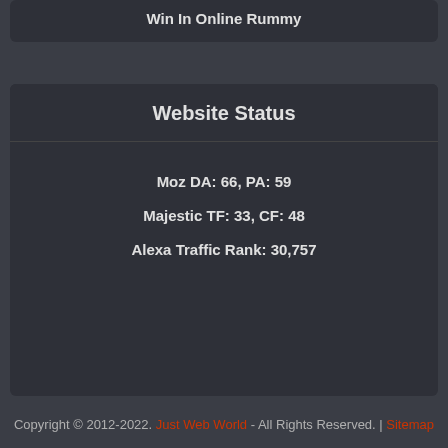Win In Online Rummy
Website Status
Moz DA: 66, PA: 59
Majestic TF: 33, CF: 48
Alexa Traffic Rank: 30,757
Copyright © 2012-2022. Just Web World - All Rights Reserved. | Sitemap